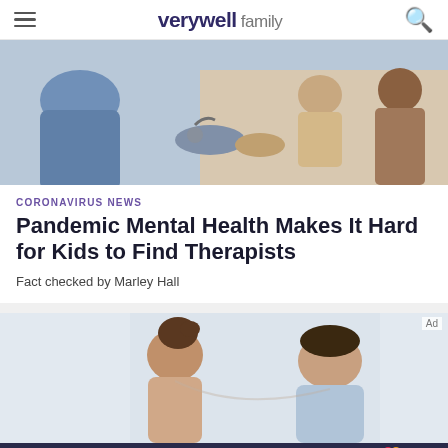verywell family
[Figure (photo): Doctor examining a child with parent present in a medical office setting]
CORONAVIRUS NEWS
Pandemic Mental Health Makes It Hard for Kids to Find Therapists
Fact checked by Marley Hall
[Figure (photo): A woman and man looking down together, possibly reviewing documents]
We help people find answers, solve problems and get inspired.   Dotdash meredith